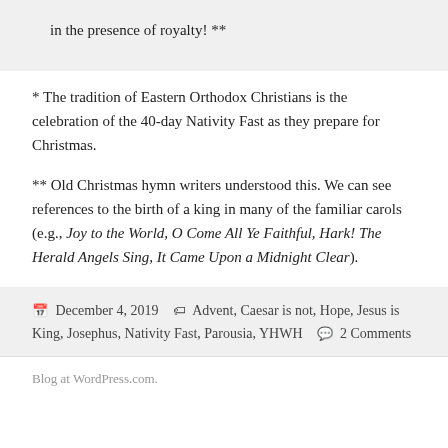in the presence of royalty! **
* The tradition of Eastern Orthodox Christians is the celebration of the 40-day Nativity Fast as they prepare for Christmas.
** Old Christmas hymn writers understood this. We can see references to the birth of a king in many of the familiar carols (e.g., Joy to the World, O Come All Ye Faithful, Hark! The Herald Angels Sing, It Came Upon a Midnight Clear).
December 4, 2019   Advent, Caesar is not, Hope, Jesus is King, Josephus, Nativity Fast, Parousia, YHWH   2 Comments
Blog at WordPress.com.